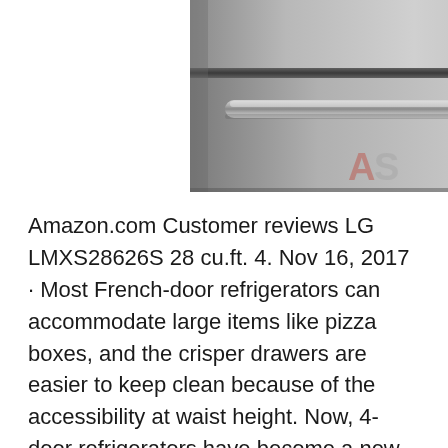[Figure (photo): Close-up photo of a stainless steel refrigerator drawer/door with a curved metallic handle, partially visible. A logo watermark (looks like 'AS' in red/grey) is visible in the lower right corner.]
Amazon.com Customer reviews LG LMXS28626S 28 cu.ft. 4. Nov 16, 2017 · Most French-door refrigerators can accommodate large items like pizza boxes, and the crisper drawers are easier to keep clean because of the accessibility at waist height. Now, 4-door refrigerators have become a new trend with a couple of different styles. You can buy them with two drawers or 4 separate doors. Jun 19, 2015 · Maytag puts a spin on the French-door fridge with an extra drawer for snacks or drinks. The main compartment has lots of extra dividers, too, to help keep your